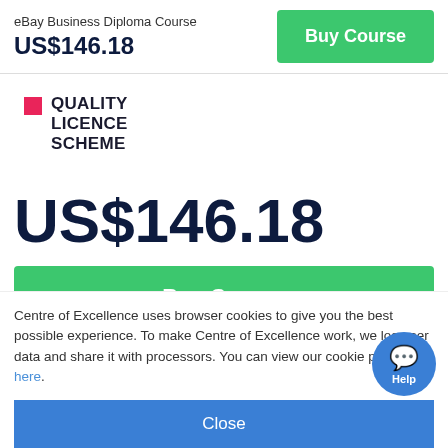eBay Business Diploma Course
US$146.18
Buy Course
[Figure (logo): Quality Licence Scheme logo with pink square icon and bold text reading QUALITY LICENCE SCHEME]
US$146.18
Buy Course
Centre of Excellence uses browser cookies to give you the best possible experience. To make Centre of Excellence work, we log user data and share it with processors. You can view our cookie policy here.
Close